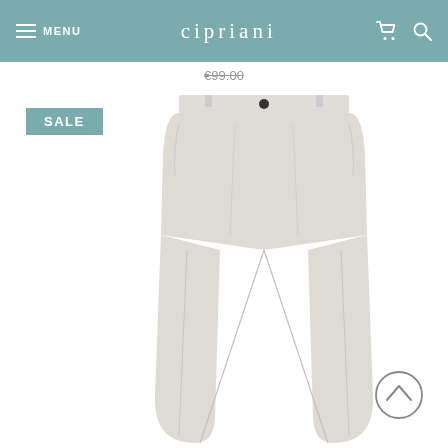MENU | cipriani
€99.00
SALE
[Figure (photo): Light grey/beige slim-fit chino trousers with button waistband, front pleats, and tapered leg, displayed on a white background.]